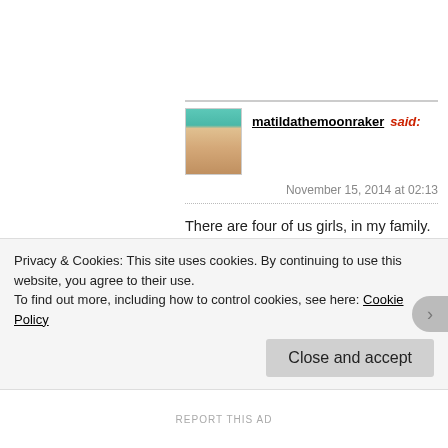[Figure (photo): Small avatar photo of a woman with light skin and hair, wearing a teal/turquoise top]
matildathemoonraker said:
November 15, 2014 at 02:13
There are four of us girls, in my family. One sister married an Asian man, one married a man of Latino decent and one married a Native American, the other one married a Greek guy…all of the families of our spouses (some more than others) have made statements (often in front of or to the wife–one of us sisters) about how it would have been better for their sons/grandson etc to have married someone of the same race.
Privacy & Cookies: This site uses cookies. By continuing to use this website, you agree to their use.
To find out more, including how to control cookies, see here: Cookie Policy
Close and accept
REPORT THIS AD